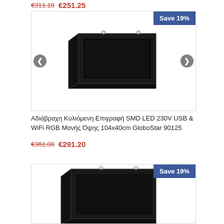€311.18 €251.25
[Figure (photo): LED scrolling sign display board in black frame, angled view, shown inside a product card with Save 19% badge and navigation arrows]
Αδιάβροχη Κυλιόμενη Επιγραφή SMD LED 230V USB & WiFi RGB Μονής Όψης 104x40cm GloboStar 90125
€361.08 €291.20
[Figure (photo): LED scrolling sign display board in black frame, angled view, shown inside a second product card with Save 19% badge, partially visible]